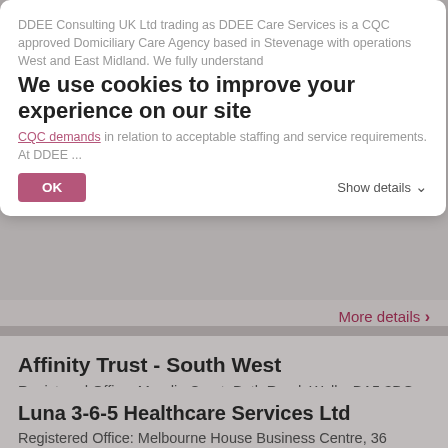We use cookies to improve your experience on our site
DDEE Consulting UK Ltd trading as DDEE Care Services is a CQC approved Domiciliary Care Agency based in Stevenage with operations West and East Midland. We fully understand CQC demands in relation to acceptable staffing and service requirements. At DDEE ...
More details
Affinity Trust - South West
Registered Office: Mendip Court, Bath Road, Wells, BA5 3DG
Good - Regulator's rating
More details
Luna 3-6-5 Healthcare Services Ltd
Registered Office: Melbourne House Business Centre, 36